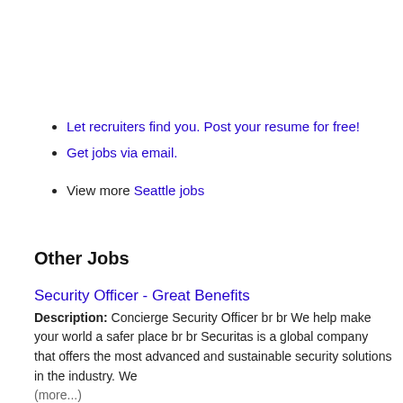Let recruiters find you. Post your resume for free!
Get jobs via email.
View more Seattle jobs
Other Jobs
Security Officer - Great Benefits
Description: Concierge Security Officer br br We help make your world a safer place br br Securitas is a global company that offers the most advanced and sustainable security solutions in the industry. We (more...)